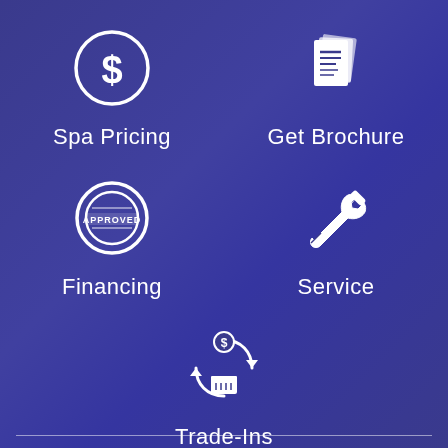[Figure (infographic): Dollar sign icon in a circle for Spa Pricing]
Spa Pricing
[Figure (infographic): Brochure/document pages icon for Get Brochure]
Get Brochure
[Figure (infographic): Approved stamp icon for Financing]
Financing
[Figure (infographic): Wrench and screwdriver crossed icon for Service]
Service
[Figure (infographic): Circular arrows with dollar sign and spa/tub icon for Trade-Ins]
Trade-Ins